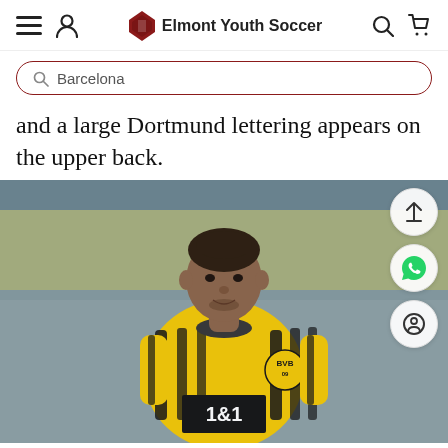Elmont Youth Soccer
Barcelona
and a large Dortmund lettering appears on the upper back.
[Figure (photo): A soccer player wearing a Borussia Dortmund yellow and black striped jersey with BVB badge and 1&1 sponsor, standing on a pitch.]